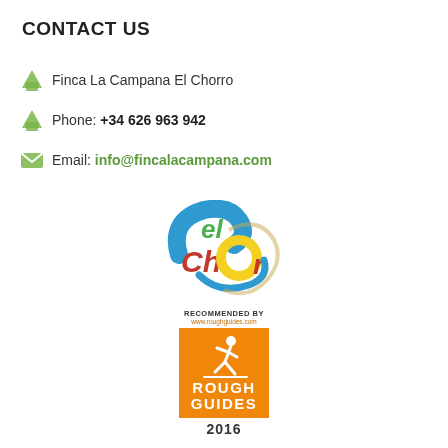CONTACT US
Finca La Campana El Chorro
Phone: +34 626 963 942
Email: info@fincalacampana.com
[Figure (logo): El Chorro colorful handwritten style logo with blue, green, red, yellow colors]
[Figure (logo): Recommended by www.roughguides.com - Rough Guides 2016 orange badge with running figure]